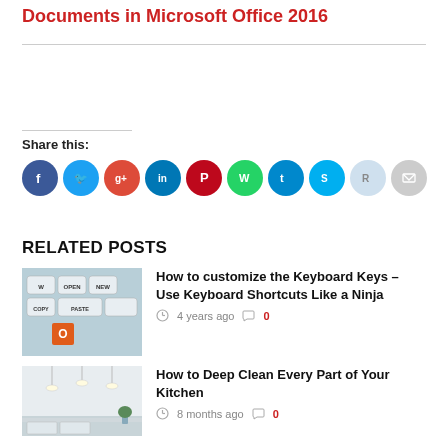Documents in Microsoft Office 2016
Share this:
[Figure (infographic): Row of 10 social sharing icon circles: Facebook (dark blue), Twitter (light blue), Google+ (red-orange), LinkedIn (dark blue), Pinterest (red), WhatsApp (green), Telegram (blue), Skype (blue), Reddit (light blue-grey), Email (grey)]
RELATED POSTS
[Figure (photo): Keyboard keys showing OPEN, NEW, COPY, PASTE with Microsoft Office logo in orange]
How to customize the Keyboard Keys – Use Keyboard Shortcuts Like a Ninja
4 years ago   0
[Figure (photo): Modern white kitchen interior with pendant lights]
How to Deep Clean Every Part of Your Kitchen
8 months ago   0